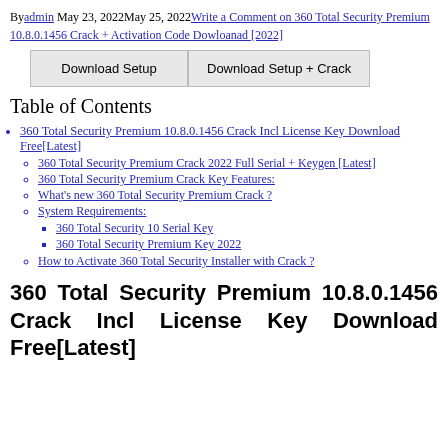By admin May 23, 2022May 25, 2022 Write a Comment on 360 Total Security Premium 10.8.0.1456 Crack + Activation Code Dowloanad [2022]
[Figure (other): Two download buttons: 'Download Setup' and 'Download Setup + Crack']
Table of Contents
360 Total Security Premium 10.8.0.1456 Crack Incl License Key Download Free[Latest]
360 Total Security Premium Crack 2022 Full Serial + Keygen [Latest]
360 Total Security Premium Crack Key Features:
What's new 360 Total Security Premium Crack ?
System Requirements:
360 Total Security 10 Serial Key
360 Total Security Premium Key 2022
How to Activate 360 Total Security Installer with Crack ?
360 Total Security Premium 10.8.0.1456 Crack Incl License Key Download Free[Latest]